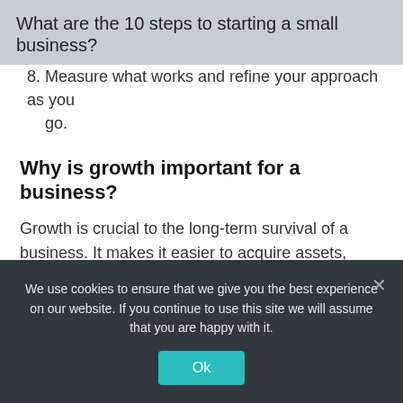What are the 10 steps to starting a small business?
8. Measure what works and refine your approach as you go.
Why is growth important for a business?
Growth is crucial to the long-term survival of a business. It makes it easier to acquire assets, attract new talent and fund investments. It also drives business performance and profit.
What is business growth and
We use cookies to ensure that we give you the best experience on our website. If you continue to use this site we will assume that you are happy with it.